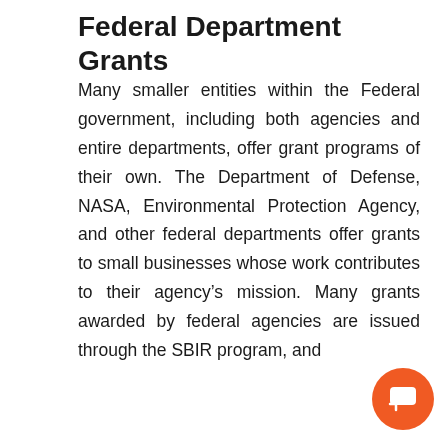Federal Department Grants
Many smaller entities within the Federal government, including both agencies and entire departments, offer grant programs of their own. The Department of Defense, NASA, Environmental Protection Agency, and other federal departments offer grants to small businesses whose work contributes to their agency's mission. Many grants awarded by federal agencies are issued through the SBIR program, and